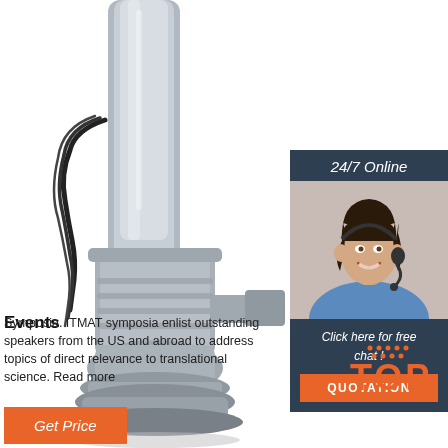[Figure (photo): Industrial stainless steel submersible pump with electrical cable, photographed against a white background]
[Figure (infographic): 24/7 Online chat widget with a customer service woman wearing a headset, dark blue background, with 'Click here for free chat!' text and orange QUOTATION button]
Events
Symposia. ITMAT symposia enlist outstanding speakers from the US and abroad to address topics of direct relevance to translational science. Read more
[Figure (logo): Orange TOP logo with dot pattern accent]
[Figure (other): Orange Get Price button]